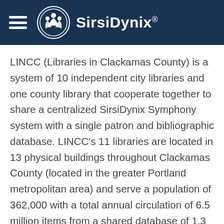[Figure (logo): SirsiDynix logo with hamburger menu icon on dark navy blue header background. Logo shows a white circular emblem with stylized human figures and the text 'SirsiDynix' with a registered trademark symbol.]
LINCC (Libraries in Clackamas County) is a system of 10 independent city libraries and one county library that cooperate together to share a centralized SirsiDynix Symphony system with a single patron and bibliographic database. LINCC's 11 libraries are located in 13 physical buildings throughout Clackamas County (located in the greater Portland metropolitan area) and serve a population of 362,000 with a total annual circulation of 6.5 million items from a shared database of 1.3 million item records. Symphony is LINCC's fourth integrated library system since 1983, so they are quite experienced with the migration process, implementing over the years